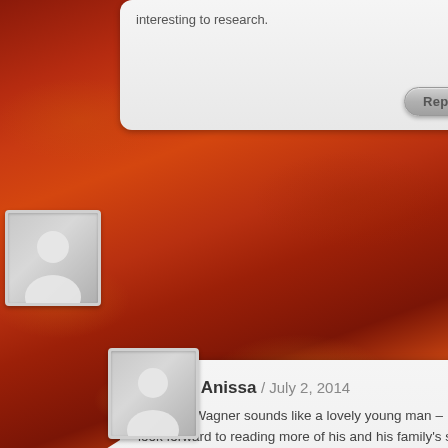[Figure (screenshot): Partial comment box at top showing a Reply button]
interesting to research.
[Figure (photo): Fiery red/orange sunset sky background]
[Figure (illustration): Generic user avatar silhouette for Kristen Anissa comment]
Kristen Anissa / July 2, 2014
Friedrick Wagner sounds like a lovely young man – I look forward to reading more of his and his family's story in Hope at Dawn. Thanks for the chance to win a copy!
kam110476 at gmail dot com
[Figure (illustration): Generic user avatar silhouette for Stacy Henrie comment]
Stacy Henrie / July 3, 2014
He was such a great character to write. 🙂